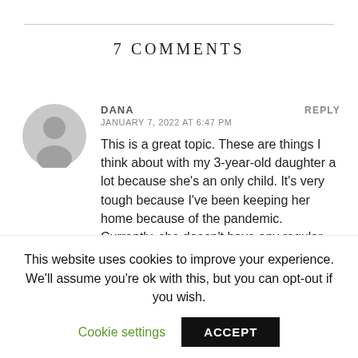7 COMMENTS
DANA
JANUARY 7, 2022 AT 6:47 PM
This is a great topic. These are things I think about with my 3-year-old daughter a lot because she’s an only child. It’s very tough because I’ve been keeping her home because of the pandemic. Currently, she doesn’t have any regular friends. Sometimes we go on playdates but it’s very occasionally. She’s a bit
This website uses cookies to improve your experience. We’ll assume you’re ok with this, but you can opt-out if you wish.
Cookie settings
ACCEPT